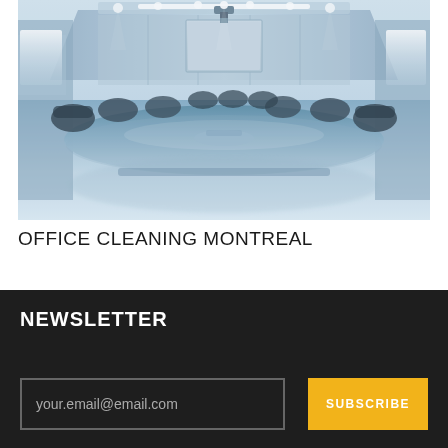[Figure (photo): A professional conference room with a large reflective table, office chairs, projection screen at the far end, and blue-tinted lighting.]
OFFICE CLEANING MONTREAL
NEWSLETTER
your.email@email.com
SUBSCRIBE